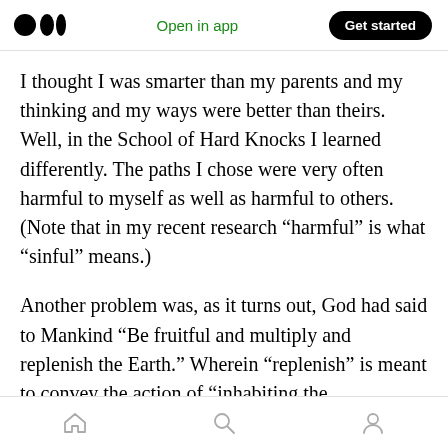Medium app header with logo, Open in app link, and Get started button
I thought I was smarter than my parents and my thinking and my ways were better than theirs. Well, in the School of Hard Knocks I learned differently. The paths I chose were very often harmful to myself as well as harmful to others. (Note that in my recent research “harmful” is what “sinful” means.)
Another problem was, as it turns out, God had said to Mankind “Be fruitful and multiply and replenish the Earth.” Wherein “replenish” is meant to convey the action of “inhabiting the whole Earth”...
Bottom navigation bar with home, search, and profile icons